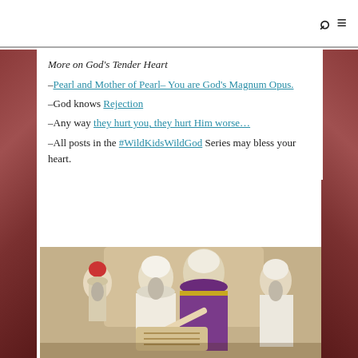search menu icons
More on God's Tender Heart
–Pearl and Mother of Pearl– You are God's Magnum Opus.
–God knows Rejection
–Any way they hurt you, they hurt Him worse…
–All posts in the #WildKidsWildGod Series may bless your heart.
[Figure (illustration): Illustration of ancient Jewish elders or rabbis in robes and head coverings, one in purple robe pointing at a scroll, others looking on, painted/drawn style]